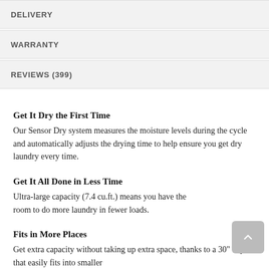DELIVERY
WARRANTY
REVIEWS (399)
Get It Dry the First Time
Our Sensor Dry system measures the moisture levels during the cycle and automatically adjusts the drying time to help ensure you get dry laundry every time.
Get It All Done in Less Time
Ultra-large capacity (7.4 cu.ft.) means you have the room to do more laundry in fewer loads.
Fits in More Places
Get extra capacity without taking up extra space, thanks to a 30" depth that easily fits into smaller